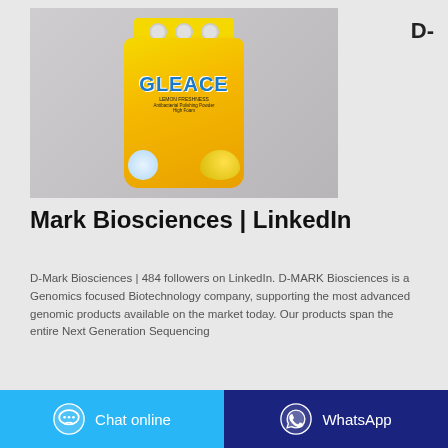[Figure (photo): Yellow bag of GLEACE Lemon Freshness washing powder against a grey background]
D-
Mark Biosciences | LinkedIn
D-Mark Biosciences | 484 followers on LinkedIn. D-MARK Biosciences is a Genomics focused Biotechnology company, supporting the most advanced genomic products available on the market today. Our products span the entire Next Generation Sequencing
Chat online
WhatsApp